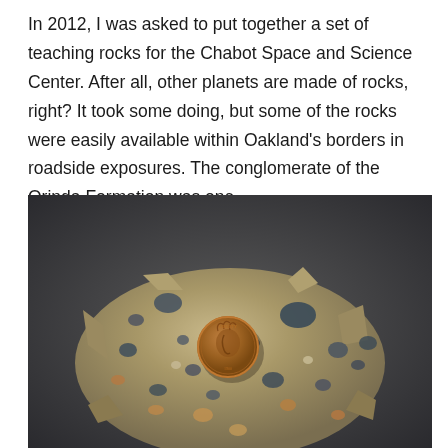In 2012, I was asked to put together a set of teaching rocks for the Chabot Space and Science Center. After all, other planets are made of rocks, right? It took some doing, but some of the rocks were easily available within Oakland's borders in roadside exposures. The conglomerate of the Orinda Formation was one.
[Figure (photo): A close-up photograph of a conglomerate rock specimen from the Orinda Formation, placed on a dark gray background. An Indian Head penny coin is resting on top of the rock for scale. The rock shows many embedded pebbles and clasts of various sizes and colors (gray, tan, dark blue-gray) cemented in a sandy matrix.]